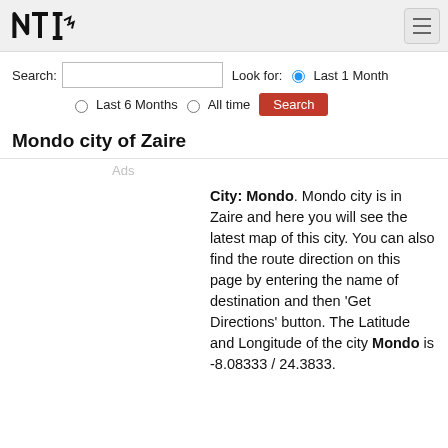NTI logo and navigation hamburger menu
Search: [input] Look for: (●) Last 1 Month
○ Last 6 Months  ○ All time  [Search]
Mondo city of Zaire
Ads
City: Mondo. Mondo city is in Zaire and here you will see the latest map of this city. You can also find the route direction on this page by entering the name of destination and then 'Get Directions' button. The Latitude and Longitude of the city Mondo is -8.08333 / 24.3833.